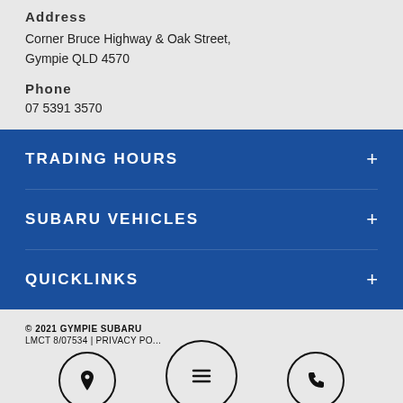Address
Corner Bruce Highway & Oak Street, Gympie QLD 4570
Phone
07 5391 3570
TRADING HOURS +
SUBARU VEHICLES +
QUICKLINKS +
© 2021 GYMPIE SUBARU | LMCT 8/07534 | PRIVACY POLICY